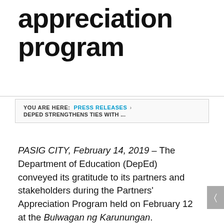appreciation program
YOU ARE HERE: PRESS RELEASES › DEPED STRENGTHENS TIES WITH ...
PASIG CITY, February 14, 2019 – The Department of Education (DepEd) conveyed its gratitude to its partners and stakeholders during the Partners' Appreciation Program held on February 12 at the Bulwagan ng Karunungan.
This year, the Department recognized more than 200 partners who extended help and invested in education through school facilities and IT support packages; infrastructure, non-infrastructure, and multi-component